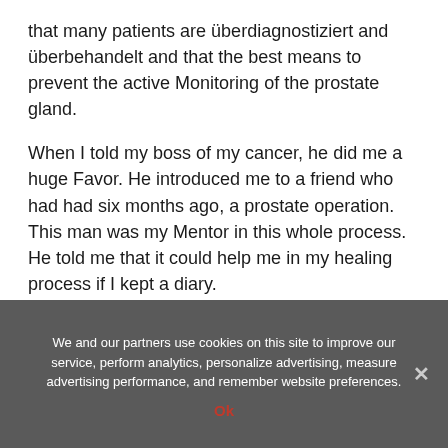that many patients are überdiagnostiziert and überbehandelt and that the best means to prevent the active Monitoring of the prostate gland.
When I told my boss of my cancer, he did me a huge Favor. He introduced me to a friend who had had six months ago, a prostate operation. This man was my Mentor in this whole process. He told me that it could help me in my healing process if I kept a diary.
He also explained to me quite openly about intimate issues, of which prostate cancer patients were affected. These were things that could not understand a doctor really. I learned through this type of brotherhood, a
We and our partners use cookies on this site to improve our service, perform analytics, personalize advertising, measure advertising performance, and remember website preferences.
Ok